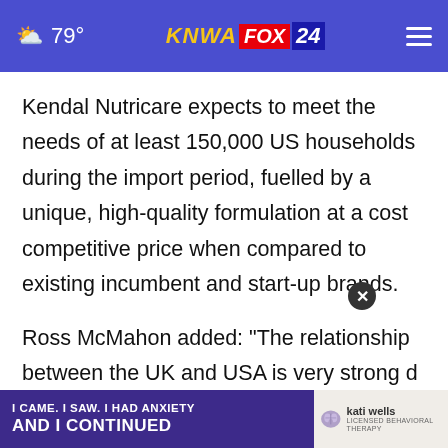79° KNWA FOX 24
Kendal Nutricare expects to meet the needs of at least 150,000 US households during the import period, fuelled by a unique, high-quality formulation at a cost competitive price when compared to existing incumbent and start-up brands.
Ross McMahon added: "The relationship between the UK and USA is very strong and we look forward to bringing our baby formula to US parents, while supporting British
[Figure (screenshot): Overlay advertisement banner: purple background with text 'I CAME. I SAW. I HAD ANXIETY AND I CONTINUED' and Kati Wells behavioral therapy logo on the right side. A close button (X) appears above the banner.]